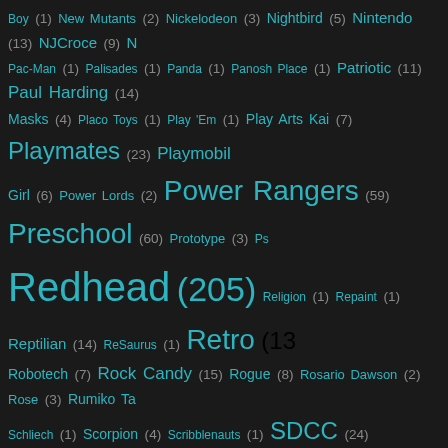Boy (1) New Mutants (2) Nickelodeon (3) Nightbird (5) Nintendo (13) NJCroce (9) N... Pac-Man (1) Palisades (1) Panda (1) Panosh Place (1) Patriotic (11) Paul Harding (14)... Masks (4) Placo Toys (1) Play 'Em (1) Play Arts Kai (7) Playmates (23) Playmobil... Girl (6) Power Lords (2) Power Rangers (59) Preschool (60) Prototype (3) Ps... Redhead (205) Religion (1) Repaint (1) Reptilian (14) ReSaurus (1) Retro (13... Robotech (7) Rock Candy (15) Rogue (8) Rosario Dawson (2) Rose (3) Rumiko Ta... Schliech (1) Scorpion (4) Scribblenauts (1) SDCC (24) Sentai (61) Shadow Weav... (3) Sideshow (2) Sif (4) Sigourney Weaver (6) Silk (6) Silver Sable (1) Simian (4) S... Skin-White (17) Skin-Yellow (12) Skybound (3) Skylanders (1) Slingshot (7) Slip... Spider-Gwen (23) Spider-Man (58) Spider-Woman (18) Spin Master (13) S... Wars (73) Starfire (5) Starting Lineup (2) Statue (46) Steampunk (2) Stephanie Be... Supergirl (33) Superman (30) Superwoman (5) Symbiote (8) Takara (20) Ta... The Walking Dead (14) ThinkWay (1) Thor (27) ThunderCats (14) Tiger Toys (1) Tig... Island (3) Toy Vault (1) Toy World (1) Toybiz (31) Toybox (10) ToyFair (13) Toynam... (2) Uhura (3) Ultraman (1) Universal Monsters (5) UNKL (1) Valentines Day (2) Valeri... Vivid Imagination (2) Vixen (4) Voltron (3) Vynl (4) Wacky Wobbler (1) Walgreens (2... Wizard of Oz (1) Wolverine (7) Wonder Girl (7) Wonder Woman (77) World's Sm... Young Avengers (3) Yvonne Craig (8) Zag Heroez (13) Zag Toys (1) Zanya (1) Zata...